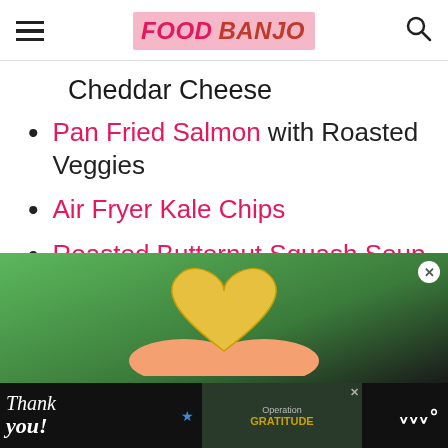FOOD BANJO
Cheddar Cheese
Pan Fried Salmon with Roasted Veggies
Air Fryer Kale Chips
Roasted Butternut Squash Soup
[Figure (photo): Advertisement: heart-shaped cheese held in hands over green background, with Operation Gratitude banner ad at bottom showing thank you note.]